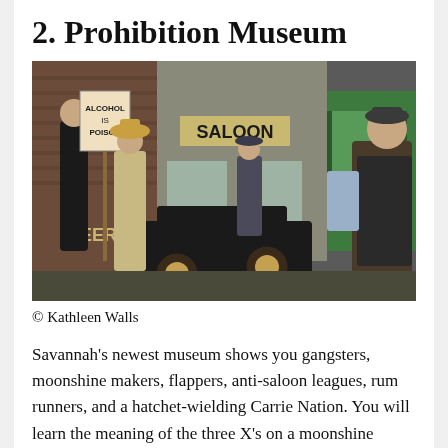2. Prohibition Museum
[Figure (photo): A museum diorama scene depicting Prohibition-era figures: a woman in a long dark dress holding a protest sign reading 'ALCOHOL IS POISON', another woman in period dress, a man in a suit near a 'SALOON' sign and 'BEER' sign, a vintage black automobile, and men near a green vehicle on the right.]
© Kathleen Walls
Savannah's newest museum shows you gangsters, moonshine makers, flappers, anti-saloon leagues, rum runners, and a hatchet-wielding Carrie Nation. You will learn the meaning of the three X's on a moonshine